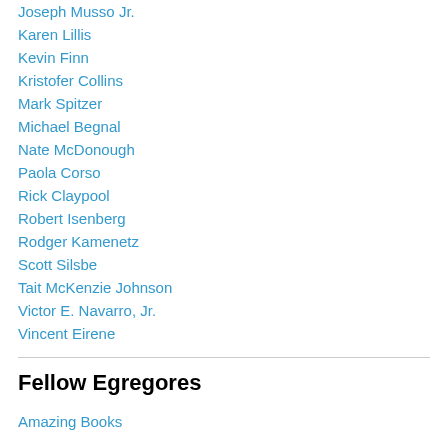Joseph Musso Jr.
Karen Lillis
Kevin Finn
Kristofer Collins
Mark Spitzer
Michael Begnal
Nate McDonough
Paola Corso
Rick Claypool
Robert Isenberg
Rodger Kamenetz
Scott Silsbe
Tait McKenzie Johnson
Victor E. Navarro, Jr.
Vincent Eirene
Fellow Egregores
Amazing Books